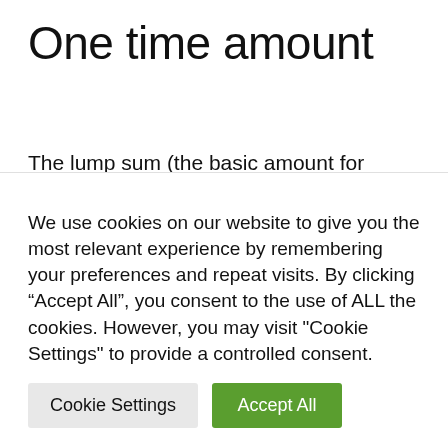One time amount
The lump sum (the basic amount for calculating the activity bonus) is equal to € 563.68 from 1 April 2022. This amount can be increased depending on the composition of the household and / or if you are in an isolation situation. This increase is called a markup.
We use cookies on our website to give you the most relevant experience by remembering your preferences and repeat visits. By clicking “Accept All”, you consent to the use of ALL the cookies. However, you may visit "Cookie Settings" to provide a controlled consent.